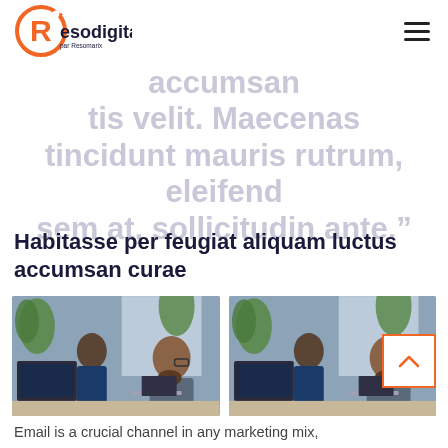Resodigital par Resomarix
tinar eu nisi. Nulla in accumsan
tis velit. Maecenas
tincidunt mauris rutrum, eleifend
sem at, sollicitudin ante.”
Habitasse per feugiat aliquam luctus accumsan curae
[Figure (photo): Two people working at computers in an office setting with plants in the background]
[Figure (photo): Two people working at computers in an office setting with plants in the background (duplicate image)]
Email is a crucial channel in any marketing mix,